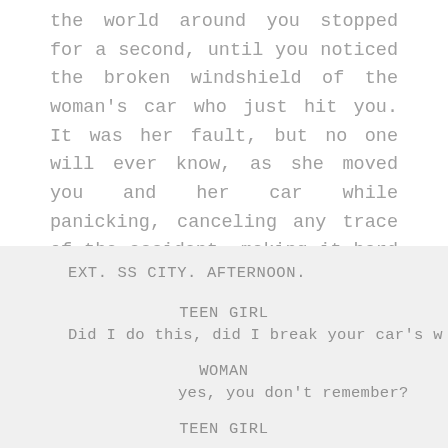the world around you stopped for a second, until you noticed the broken windshield of the woman's car who just hit you. It was her fault, but no one will ever know, as she moved you and her car while panicking, canceling any trace of the accident, making it hard -if not impossible, for the agents to declare ... anything.
EXT. SS CITY. AFTERNOON.
TEEN GIRL
Did I do this, did I break your car's w
WOMAN
yes, you don't remember?
TEEN GIRL